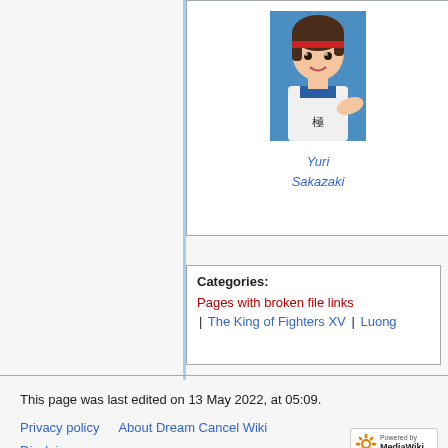[Figure (illustration): Anime/game character illustration of Yuri Sakazaki from King of Fighters XV, shown from shoulders up, wearing white gi with dark hair and red headband, against blue background]
Yuri
Sakazaki
Categories:
Pages with broken file links
The King of Fighters XV | Luong
This page was last edited on 13 May 2022, at 05:09.
Privacy policy    About Dream Cancel Wiki
Disclaimers
[Figure (logo): Powered by MediaWiki badge/logo in bottom right corner]